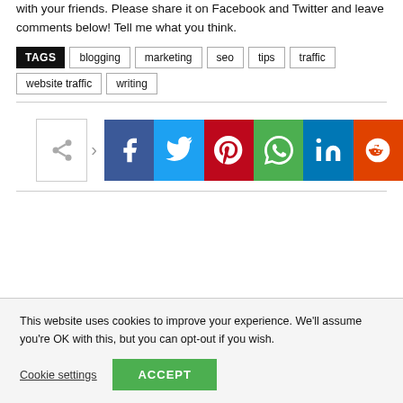with your friends. Please share it on Facebook and Twitter and leave comments below! Tell me what you think.
TAGS  blogging  marketing  seo  tips  traffic  website traffic  writing
[Figure (infographic): Share buttons row: share icon, Facebook, Twitter, Pinterest, WhatsApp, LinkedIn, Reddit]
This website uses cookies to improve your experience. We'll assume you're OK with this, but you can opt-out if you wish.
Cookie settings   ACCEPT